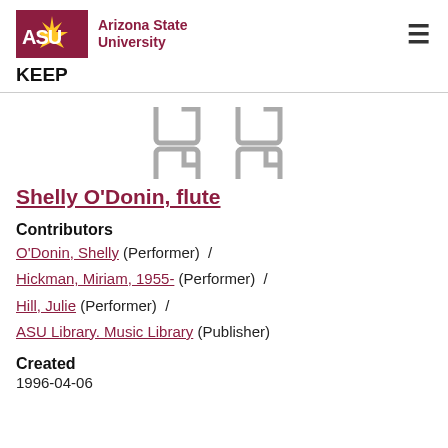ASU Arizona State University KEEP
[Figure (illustration): Two document/file icons shown in gray, side by side, partially cropped at top]
Shelly O'Donin, flute
Contributors
O'Donin, Shelly (Performer) / Hickman, Miriam, 1955- (Performer) / Hill, Julie (Performer) / ASU Library. Music Library (Publisher)
Created
1996-04-06